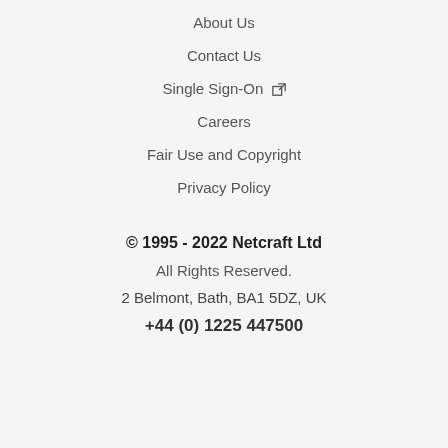About Us
Contact Us
Single Sign-On ↗
Careers
Fair Use and Copyright
Privacy Policy
© 1995 - 2022 Netcraft Ltd
All Rights Reserved.
2 Belmont, Bath, BA1 5DZ, UK
+44 (0) 1225 447500